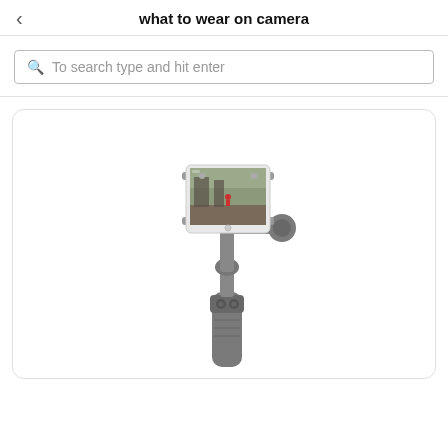what to wear on camera
To search type and hit enter
[Figure (photo): A DJI Osmo Mobile smartphone gimbal stabilizer with a white smartphone mounted horizontally, showing a video frame on screen. The gimbal has a grey handle with control buttons and joints.]